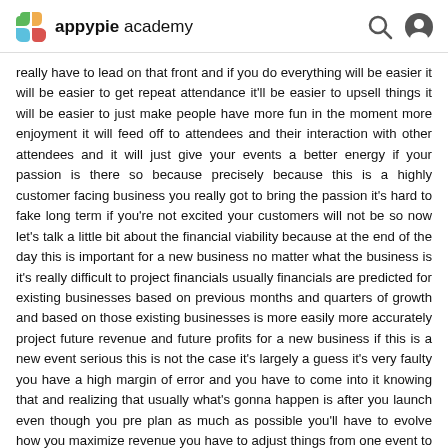appypie academy
really have to lead on that front and if you do everything will be easier it will be easier to get repeat attendance it'll be easier to upsell things it will be easier to just make people have more fun in the moment more enjoyment it will feed off to attendees and their interaction with other attendees and it will just give your events a better energy if your passion is there so because precisely because this is a highly customer facing business you really got to bring the passion it's hard to fake long term if you're not excited your customers will not be so now let's talk a little bit about the financial viability because at the end of the day this is important for a new business no matter what the business is it's really difficult to project financials usually financials are predicted for existing businesses based on previous months and quarters of growth and based on those existing businesses is more easily more accurately project future revenue and future profits for a new business if this is a new event serious this is not the case it's largely a guess it's very faulty you have a high margin of error and you have to come into it knowing that and realizing that usually what's gonna happen is after you launch even though you pre plan as much as possible you'll have to evolve how you maximize revenue you have to adjust things from one event to another event to another you'll have